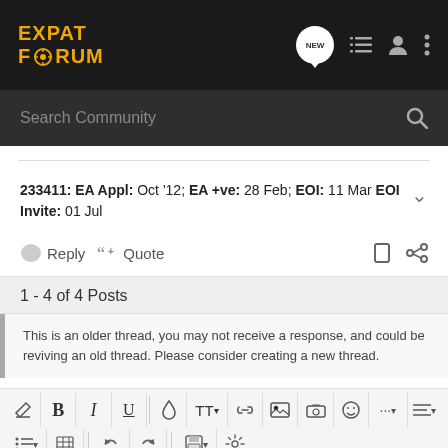EXPAT FORUM
Search Community
233411: EA Appl: Oct '12; EA +ve: 28 Feb; EOI: 11 Mar EOI Invite: 01 Jul
Reply  Quote
1 - 4 of 4 Posts
This is an older thread, you may not receive a response, and could be reviving an old thread. Please consider creating a new thread.
[Figure (screenshot): Text editor toolbar with formatting buttons: eraser, B, I, U, color, font size, link, image, camera, emoji, more, align, list, table, undo, redo, save, settings]